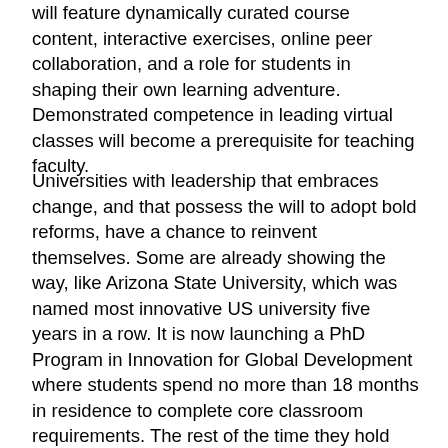will feature dynamically curated course content, interactive exercises, online peer collaboration, and a role for students in shaping their own learning adventure. Demonstrated competence in leading virtual classes will become a prerequisite for teaching faculty.
Universities with leadership that embraces change, and that possess the will to adopt bold reforms, have a chance to reinvent themselves. Some are already showing the way, like Arizona State University, which was named most innovative US university five years in a row. It is now launching a PhD Program in Innovation for Global Development where students spend no more than 18 months in residence to complete core classroom requirements. The rest of the time they hold down jobs and use digital platforms. More universities will partner with major corporations, which have an incentive to tap into R&D capacity on campuses, and to